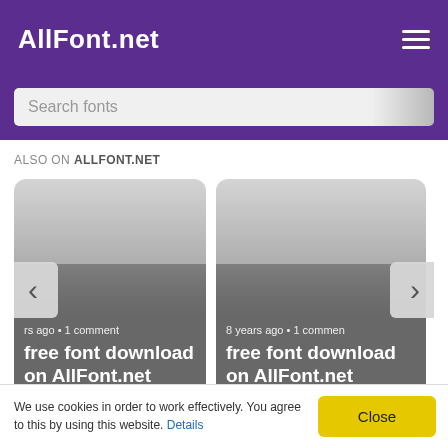AllFont.net
Search fonts
ALSO ON ALLFONT.NET
[Figure (screenshot): Two card-style content blocks showing font download previews. Left card: 'rs ago • 1 comment / free font download on AllFont.net'. Right card: '8 years ago • 1 comment / free font download on AllFont.net'. Left and right navigation arrows visible.]
Sponsored
We use cookies in order to work effectively. You agree to this by using this website. Details